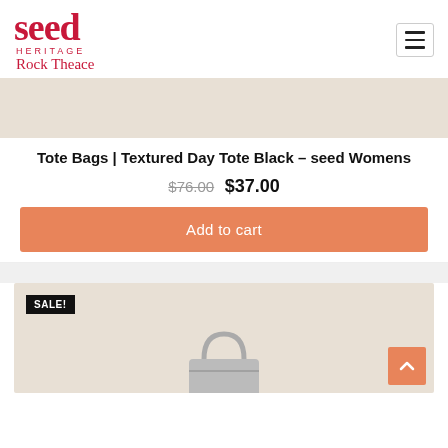seed HERITAGE Rock Theace
[Figure (photo): Beige/cream background product image area (top portion of tote bag product, cropped)]
Tote Bags | Textured Day Tote Black – seed Womens
$76.00  $37.00
Add to cart
[Figure (photo): Second product card with SALE! badge and a bag silhouette on beige background]